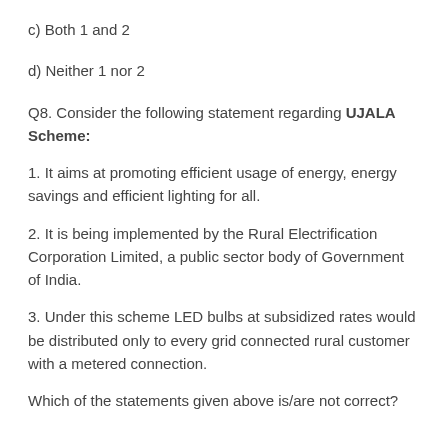c) Both 1 and 2
d) Neither 1 nor 2
Q8. Consider the following statement regarding UJALA Scheme:
1. It aims at promoting efficient usage of energy, energy savings and efficient lighting for all.
2. It is being implemented by the Rural Electrification Corporation Limited, a public sector body of Government of India.
3. Under this scheme LED bulbs at subsidized rates would be distributed only to every grid connected rural customer with a metered connection.
Which of the statements given above is/are not correct?